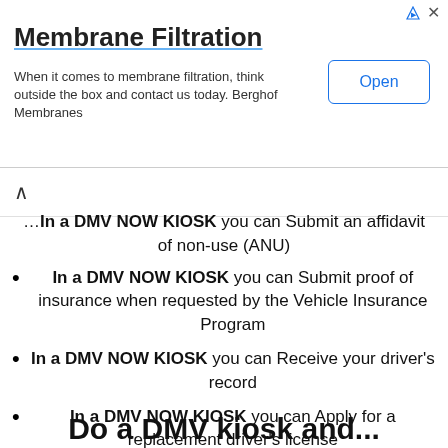[Figure (other): Advertisement banner for Berghof Membranes membrane filtration with Open button]
... In a DMV NOW KIOSK you can Submit an affidavit of non-use (ANU)
In a DMV NOW KIOSK you can Submit proof of insurance when requested by the Vehicle Insurance Program
In a DMV NOW KIOSK you can Receive your driver's record
In a DMV NOW KIOSK you can Apply for a replacement driver's license
In a DMV NOW KIOSK you can Receive a replacement registration card or sticker
Do a DMV kiosk and...